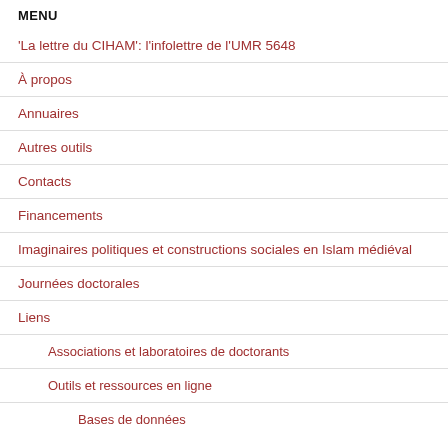MENU
'La lettre du CIHAM': l'infolettre de l'UMR 5648
À propos
Annuaires
Autres outils
Contacts
Financements
Imaginaires politiques et constructions sociales en Islam médiéval
Journées doctorales
Liens
Associations et laboratoires de doctorants
Outils et ressources en ligne
Bases de données